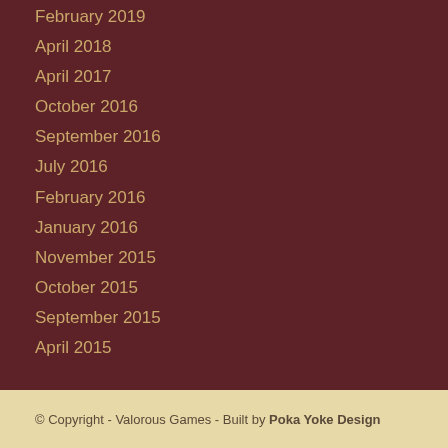February 2019
April 2018
April 2017
October 2016
September 2016
July 2016
February 2016
January 2016
November 2015
October 2015
September 2015
April 2015
© Copyright - Valorous Games - Built by Poka Yoke Design